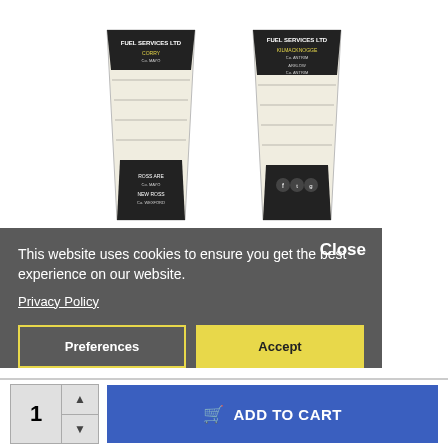[Figure (photo): Two printed paper cups with black and white geometric pattern design showing text including 'FUEL SERVICES LTD', 'CORRY', 'ROSS ARE', and social media icons. Cups are displayed on white background.]
This website uses cookies to ensure you get the best experience on our website.
Privacy Policy
Preferences
Accept
€10.00
Close
ADD TO CART